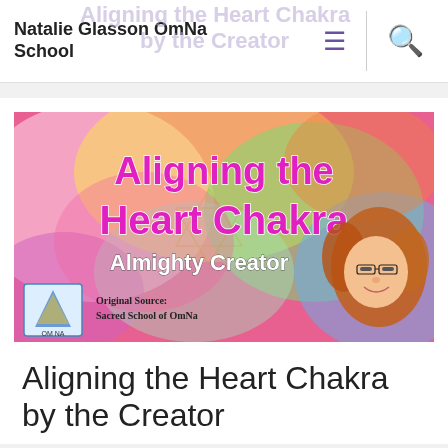Natalie Glasson OmNa School
[Figure (illustration): Colorful banner image with text 'Aligning the Heart Chakra' in pink bold letters, 'Almighty Creator' in white bold letters, 'Original Source: Sacred School of OmNa' in dark text, OmNa logo bottom-left, photo of curly-haired woman bottom-right, colorful powder/chakra background.]
Aligning the Heart Chakra by the Creator